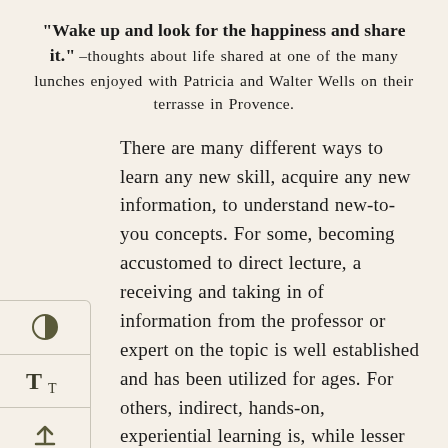“Wake up and look for the happiness and share it.” –thoughts about life shared at one of the many lunches enjoyed with Patricia and Walter Wells on their terrasse in Provence.
There are many different ways to learn any new skill, acquire any new information, to understand new-to-you concepts. For some, becoming accustomed to direct lecture, a receiving and taking in of information from the professor or expert on the topic is well established and has been utilized for ages. For others, indirect, hands-on, experiential learning is, while lesser known and practiced, is a far more effective method for the student to absorb and retain the desired content, and often while requiring